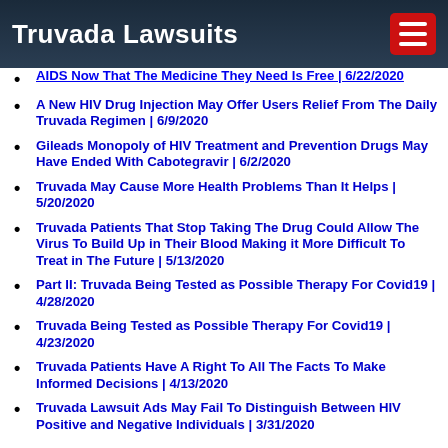Truvada Lawsuits
AIDS Now That The Medicine They Need Is Free | 6/22/2020
A New HIV Drug Injection May Offer Users Relief From The Daily Truvada Regimen | 6/9/2020
Gileads Monopoly of HIV Treatment and Prevention Drugs May Have Ended With Cabotegravir | 6/2/2020
Truvada May Cause More Health Problems Than It Helps | 5/20/2020
Truvada Patients That Stop Taking The Drug Could Allow The Virus To Build Up in Their Blood Making it More Difficult To Treat in The Future | 5/13/2020
Part II: Truvada Being Tested as Possible Therapy For Covid19 | 4/28/2020
Truvada Being Tested as Possible Therapy For Covid19 | 4/23/2020
Truvada Patients Have A Right To All The Facts To Make Informed Decisions | 4/13/2020
Truvada Lawsuit Ads May Fail To Distinguish Between HIV Positive and Negative Individuals | 3/31/2020